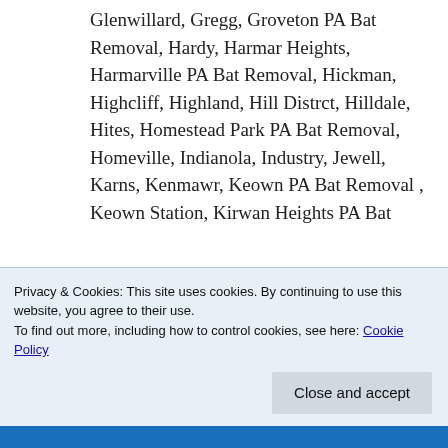Glenwillard, Gregg, Groveton PA Bat Removal, Hardy, Harmar Heights, Harmarville PA Bat Removal, Hickman, Highcliff, Highland, Hill Distrct, Hilldale, Hites, Homestead Park PA Bat Removal, Homeville, Indianola, Industry, Jewell, Karns, Kenmawr, Keown PA Bat Removal , Keown Station, Kirwan Heights PA Bat
Privacy & Cookies: This site uses cookies. By continuing to use this website, you agree to their use.
To find out more, including how to control cookies, see here: Cookie Policy
Close and accept